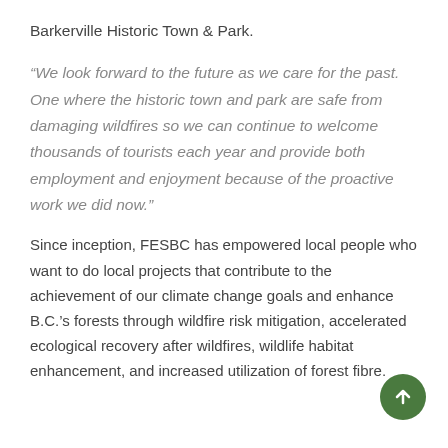Barkerville Historic Town & Park.
“We look forward to the future as we care for the past. One where the historic town and park are safe from damaging wildfires so we can continue to welcome thousands of tourists each year and provide both employment and enjoyment because of the proactive work we did now.”
Since inception, FESBC has empowered local people who want to do local projects that contribute to the achievement of our climate change goals and enhance B.C.’s forests through wildfire risk mitigation, accelerated ecological recovery after wildfires, wildlife habitat enhancement, and increased utilization of forest fibre.